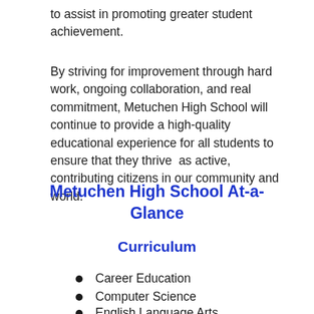to assist in promoting greater student achievement.
By striving for improvement through hard work, ongoing collaboration, and real commitment, Metuchen High School will continue to provide a high-quality educational experience for all students to ensure that they thrive  as active, contributing citizens in our community and world.
Metuchen High School At-a-Glance
Curriculum
Career Education
Computer Science
English Language Arts